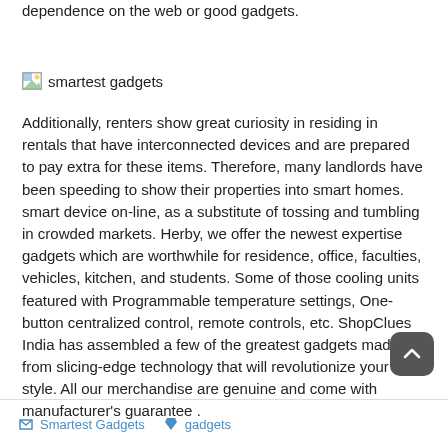dependence on the web or good gadgets.
[Figure (photo): Image placeholder with alt text 'smartest gadgets']
Additionally, renters show great curiosity in residing in rentals that have interconnected devices and are prepared to pay extra for these items. Therefore, many landlords have been speeding to show their properties into smart homes. smart device on-line, as a substitute of tossing and tumbling in crowded markets. Herby, we offer the newest expertise gadgets which are worthwhile for residence, office, faculties, vehicles, kitchen, and students. Some of those cooling units featured with Programmable temperature settings, One-button centralized control, remote controls, etc. ShopClues India has assembled a few of the greatest gadgets made from slicing-edge technology that will revolutionize your life-style. All our merchandise are genuine and come with manufacturer's guarantee .
Smartest Gadgets   gadgets